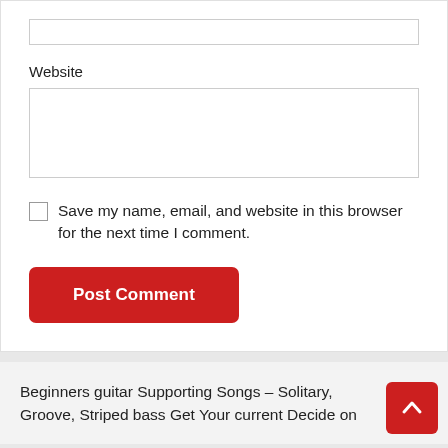Website
Save my name, email, and website in this browser for the next time I comment.
Post Comment
Beginners guitar Supporting Songs – Solitary, Groove, Striped bass Get Your current Decide on